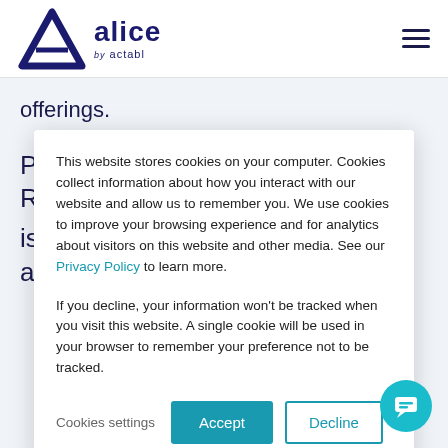[Figure (logo): Alice by actabl logo — dark navy blue triangle/A shape with 'alice by actabl' wordmark]
offerings.
Part of the Brisas Group, NIZUC Resort & Spa
is one of Mexico's most sought-after
This website stores cookies on your computer. Cookies collect information about how you interact with our website and allow us to remember you. We use cookies to improve your browsing experience and for analytics about visitors on this website and other media. See our Privacy Policy to learn more.
If you decline, your information won't be tracked when you visit this website. A single cookie will be used in your browser to remember your preference not to be tracked.
Cookies settings   Accept   Decline